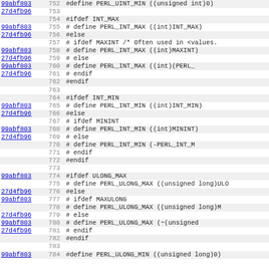Source code diff view showing lines 752-784 of a C header file with commit annotations (99abf803, 27d4fb96) defining PERL_UINT_MIN, PERL_INT_MAX, PERL_INT_MIN, PERL_ULONG_MAX macros